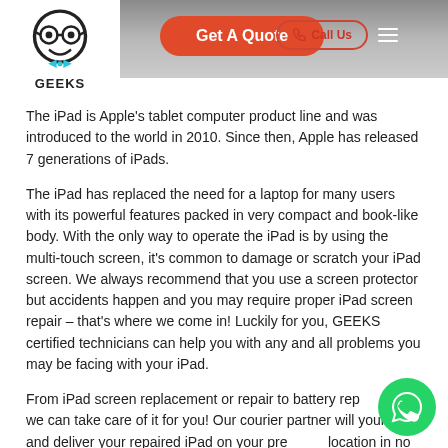[Figure (logo): GEEKS logo: cartoon face with round glasses, bowtie, and pentagon white background]
[Figure (screenshot): Get A Quote orange rounded button in page header]
[Figure (screenshot): Call Us outlined orange button and hamburger menu in header]
The iPad is Apple's tablet computer product line and was introduced to the world in 2010. Since then, Apple has released 7 generations of iPads.
The iPad has replaced the need for a laptop for many users with its powerful features packed in very compact and book-like body. With the only way to operate the iPad is by using the multi-touch screen, it's common to damage or scratch your iPad screen. We always recommend that you use a screen protector but accidents happen and you may require proper iPad screen repair – that's where we come in! Luckily for you, GEEKS certified technicians can help you with any and all problems you may be facing with your iPad.
From iPad screen replacement or repair to battery replacement, we can take care of it for you! Our courier partner will pick up your iPad and deliver your repaired iPad on your preferred location in no more than 2 days.
With GEEKS, you'll get the most efficient and cost-effective...